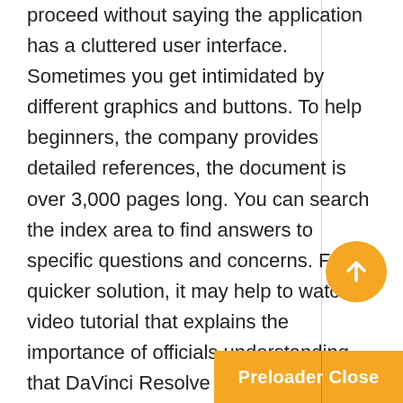proceed without saying the application has a cluttered user interface. Sometimes you get intimidated by different graphics and buttons. To help beginners, the company provides detailed references, the document is over 3,000 pages long. You can search the index area to find answers to specific questions and concerns. For a quicker solution, it may help to watch a video tutorial that explains the importance of officials understanding that DaVinci Resolve is great video editing software for professionals. You can meet all kinds of editing needs with this comprehensive application.
Chess Titans FastDL torrent In addition, the program gives you more control over the various pros and cons considered. DaVinci Resolve is the best choice for serious video editors. However, if you are a beginner wanting to learn trading tricks, your best bet is to